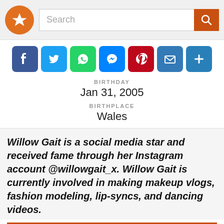[Figure (screenshot): Website header with orange star logo and search bar with search button]
[Figure (infographic): Social media share icons row: Facebook, Twitter, WhatsApp, Messenger, Pinterest, Email, More]
BIRTHDAY
Jan 31, 2005
BIRTHPLACE
Wales
Willow Gait is a social media star and received fame through her Instagram account @willowgait_x. Willow Gait is currently involved in making makeup vlogs, fashion modeling, lip-syncs, and dancing videos.
Table of Biography [show]